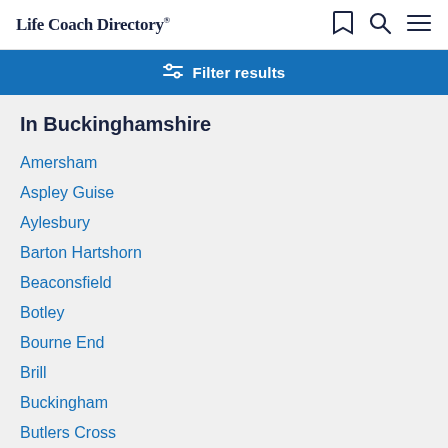Life Coach Directory
Filter results
In Buckinghamshire
Amersham
Aspley Guise
Aylesbury
Barton Hartshorn
Beaconsfield
Botley
Bourne End
Brill
Buckingham
Butlers Cross
Chalfont St Giles